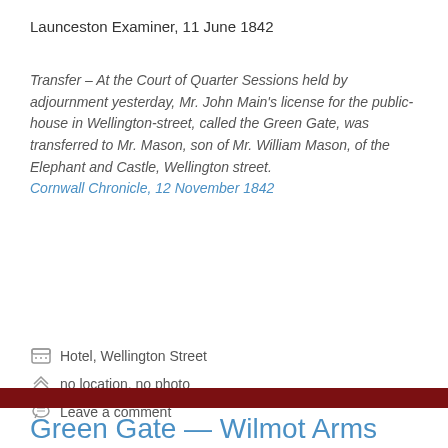Launceston Examiner, 11 June 1842
Transfer – At the Court of Quarter Sessions held by adjournment yesterday, Mr. John Main's license for the public-house in Wellington-street, called the Green Gate, was transferred to Mr. Mason, son of Mr. William Mason, of the Elephant and Castle, Wellington street.
Cornwall Chronicle, 12 November 1842
Read more
Hotel, Wellington Street
no location, no photo
Leave a comment
Green Gate — Wilmot Arms